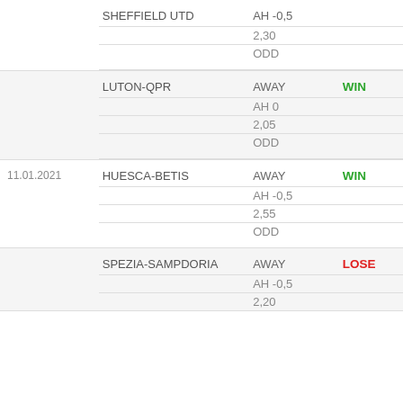| Date | Match | Bet Info | Result |
| --- | --- | --- | --- |
|  | SHEFFIELD UTD | AH -0,5
2,30
ODD |  |
|  | LUTON-QPR | AWAY
AH 0
2,05
ODD | WIN |
| 11.01.2021 | HUESCA-BETIS | AWAY
AH -0,5
2,55
ODD | WIN |
|  | SPEZIA-SAMPDORIA | AWAY
AH -0,5
2,20 | LOSE |